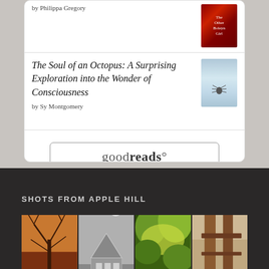by Philippa Gregory
[Figure (photo): Book cover of 'The Other Boleyn Girl' with red/dark decorative background]
The Soul of an Octopus: A Surprising Exploration into the Wonder of Consciousness
by Sy Montgomery
[Figure (photo): Book cover with blue/gray tones and spider illustration]
[Figure (logo): goodreads button/logo in a rounded rectangle border]
SHOTS FROM APPLE HILL
[Figure (photo): Four photos in a grid: bare tree with warm sky, black and white greenhouse, green forest, brown fence posts]